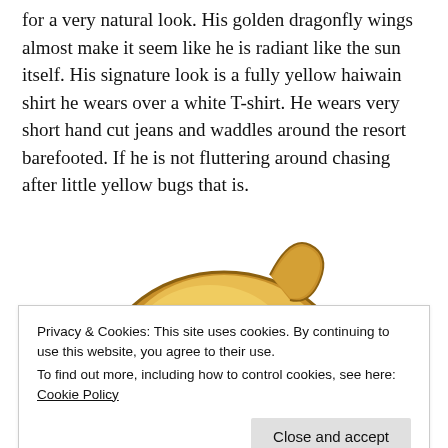for a very natural look. His golden dragonfly wings almost make it seem like he is radiant like the sun itself. His signature look is a fully yellow haiwain shirt he wears over a white T-shirt. He wears very short hand cut jeans and waddles around the resort barefooted. If he is not fluttering around chasing after little yellow bugs that is.
[Figure (illustration): Anime-style illustration of a character with golden/blonde hair, partially visible from the top. The character has a round face with golden hair swept to the side.]
Privacy & Cookies: This site uses cookies. By continuing to use this website, you agree to their use.
To find out more, including how to control cookies, see here: Cookie Policy